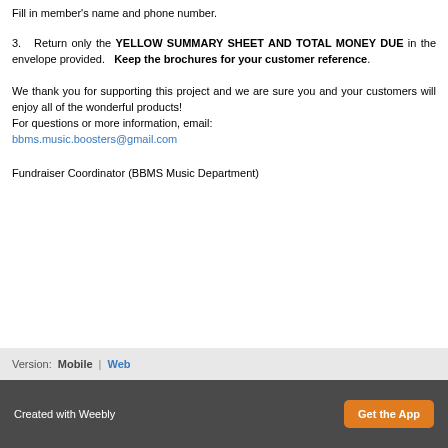Fill in member's name and phone number.
3.   Return only the YELLOW SUMMARY SHEET AND TOTAL MONEY DUE in the envelope provided.   Keep the brochures for your customer reference.
We thank you for supporting this project and we are sure you and your customers will enjoy all of the wonderful products!
For questions or more information, email: bbms.music.boosters@gmail.com
Fundraiser Coordinator (BBMS Music Department)
Version: Mobile | Web
Created with Weebly  Get the App